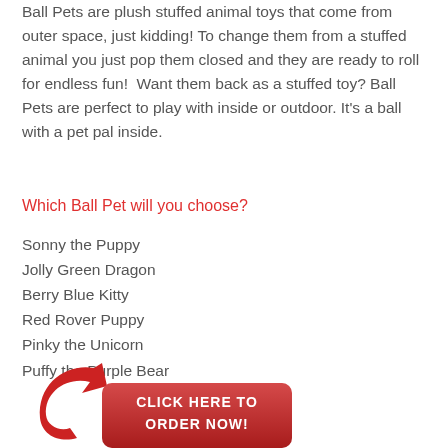Ball Pets are plush stuffed animal toys that come from outer space, just kidding! To change them from a stuffed animal you just pop them closed and they are ready to roll for endless fun!  Want them back as a stuffed toy? Ball Pets are perfect to play with inside or outdoor. It's a ball with a pet pal inside.
Which Ball Pet will you choose?
Sonny the Puppy
Jolly Green Dragon
Berry Blue Kitty
Red Rover Puppy
Pinky the Unicorn
Puffy the Purple Bear
[Figure (illustration): Red curved arrow icon and a red rounded rectangle button with white bold text reading CLICK HERE TO ORDER NOW!]